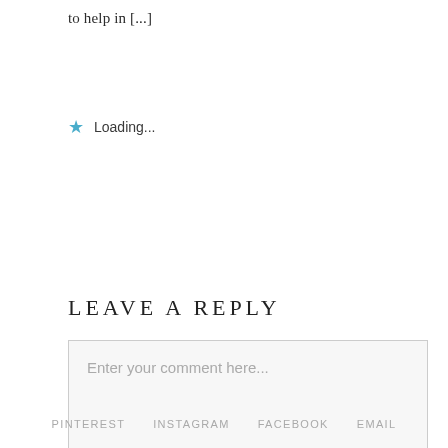to help in [...]
★ Loading...
LEAVE A REPLY
Enter your comment here...
PINTEREST   INSTAGRAM   FACEBOOK   EMAIL